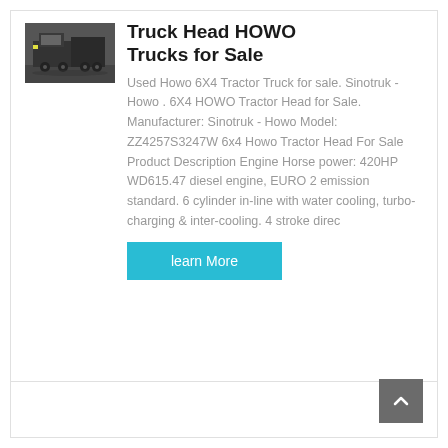[Figure (photo): Photo of a HOWO truck/tractor head, dark colored, seen from front-side angle on a surface]
Truck Head HOWO Trucks for Sale
Used Howo 6X4 Tractor Truck for sale. Sinotruk - Howo . 6X4 HOWO Tractor Head for Sale. Manufacturer: Sinotruk - Howo Model: ZZ4257S3247W 6x4 Howo Tractor Head For Sale Product Description Engine Horse power: 420HP WD615.47 diesel engine, EURO 2 emission standard. 6 cylinder in-line with water cooling, turbo-charging & inter-cooling. 4 stroke direc
[Figure (other): Cyan/teal 'learn More' button]